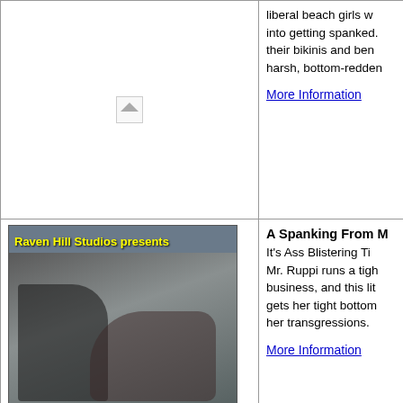[Figure (photo): Broken image placeholder in top-left cell]
liberal beach girls w... into getting spanked. their bikinis and ben harsh, bottom-redden
More Information
[Figure (photo): Raven Hill Studios presents - photo of a man and woman in a workshop/garage setting]
A Spanking From M... It's Ass Blistering Ti... Mr. Ruppi runs a tigh business, and this lit... gets her tight bottom her transgressions.
More Information
A Spanking Works The Spanking Video... Raven Hill Studios! Format: DVD

When his daughters ... spankings instead of father drives home s... lessons.